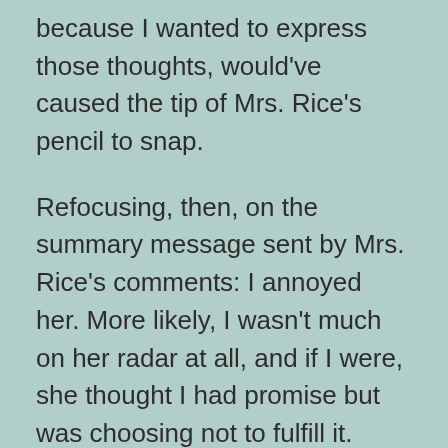because I wanted to express those thoughts, would've caused the tip of Mrs. Rice's pencil to snap.
Refocusing, then, on the summary message sent by Mrs. Rice's comments: I annoyed her. More likely, I wasn't much on her radar at all, and if I were, she thought I had promise but was choosing not to fulfill it.
I'll grant her that hypothesis.
Her annoyance was legitimate.
Exhibit B: